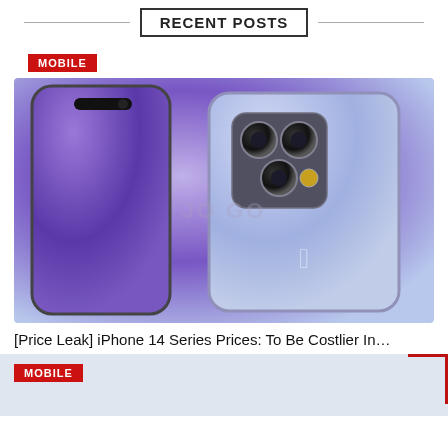RECENT POSTS
MOBILE
[Figure (photo): Two iPhone 14 Pro models in deep purple color — one showing the front with pill-shaped notch, one showing the back with triple camera system and Apple logo. Watermark text visible in background.]
[Price Leak] iPhone 14 Series Prices: To Be Costlier In…
MOBILE